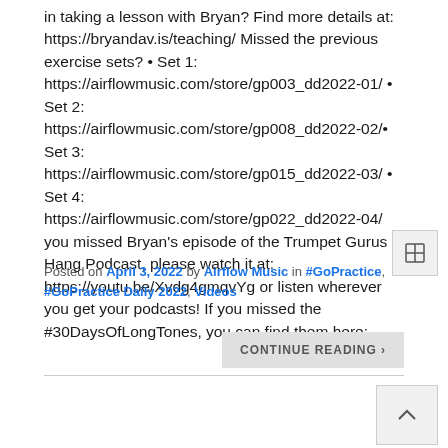in taking a lesson with Bryan? Find more details at: https://bryandav.is/teaching/ Missed the previous exercise sets? • Set 1: https://airflowmusic.com/store/gp003_dd2022-01/ • Set 2: https://airflowmusic.com/store/gp008_dd2022-02/• Set 3: https://airflowmusic.com/store/gp015_dd2022-03/ • Set 4: https://airflowmusic.com/store/gp022_dd2022-04/ you missed Bryan's episode of the Trumpet Gurus Hang Podcast, please watch it at: https://youtu.be/Xvdg4gmqvYg or listen wherever you get your podcasts! If you missed the #30DaysOfLongTones, you can find them here:…
Posted on April 3, 2022 by Airflow Music in #GoPractice, #GoPractice Daily 2022, Videos
CONTINUE READING ›